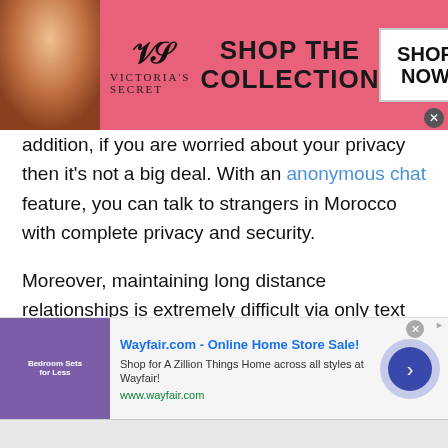[Figure (illustration): Victoria's Secret advertisement banner with a model on the left, VS logo in center-left, 'SHOP THE COLLECTION' text in center, and a 'SHOP NOW' button on the right, pink background.]
addition, if you are worried about your privacy then it's not a big deal. With an anonymous chat feature, you can talk to strangers in Morocco with complete privacy and security.
Moreover, maintaining long distance relationships is extremely difficult via only text chat. Of course, you want to see and hear your loved one's voice. So, instead of making paid international calls why not avail TWS voice call feature? It is easy, convenient and available for free. Well, if you ever think to make
[Figure (illustration): Wayfair.com advertisement banner with bedroom furniture image on left, 'Wayfair.com - Online Home Store Sale!' title, description text, www.wayfair.com URL, and a blue circular play/arrow button on the right.]